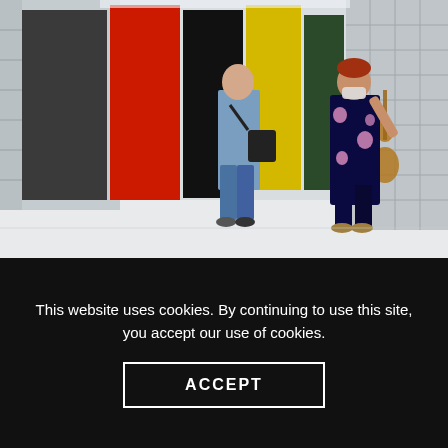[Figure (photo): Interior of a museum storage facility. Two masked people stand in a corridor lined with large sliding panels/racks holding artworks including paintings and a guitar. Colorful canvases are visible — red, black, yellow backgrounds. The facility has a clinical white and metal aesthetic.]
Inside you can visit storage rooms filled with priceless artworks (Picture: Marco De Swart/ANP/AFP via Getty Images)
This website uses cookies. By continuing to use this site, you accept our use of cookies.
ACCEPT